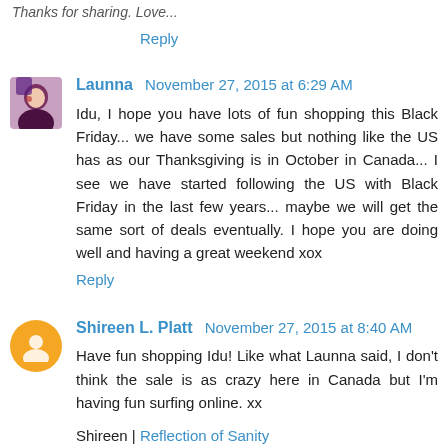Thanks for sharing. Love...
Reply
Launna  November 27, 2015 at 6:29 AM
Idu, I hope you have lots of fun shopping this Black Friday... we have some sales but nothing like the US has as our Thanksgiving is in October in Canada... I see we have started following the US with Black Friday in the last few years... maybe we will get the same sort of deals eventually. I hope you are doing well and having a great weekend xox
Reply
Shireen L. Platt  November 27, 2015 at 8:40 AM
Have fun shopping Idu! Like what Launna said, I don't think the sale is as crazy here in Canada but I'm having fun surfing online. xx
Shireen | Reflection of Sanity